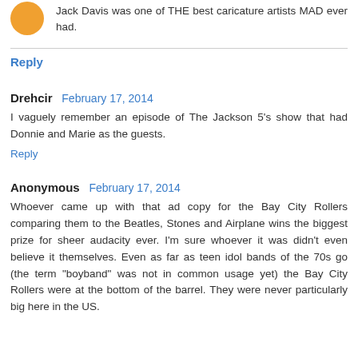Jack Davis was one of THE best caricature artists MAD ever had.
Reply
Drehcir  February 17, 2014
I vaguely remember an episode of The Jackson 5's show that had Donnie and Marie as the guests.
Reply
Anonymous  February 17, 2014
Whoever came up with that ad copy for the Bay City Rollers comparing them to the Beatles, Stones and Airplane wins the biggest prize for sheer audacity ever. I'm sure whoever it was didn't even believe it themselves. Even as far as teen idol bands of the 70s go (the term "boyband" was not in common usage yet) the Bay City Rollers were at the bottom of the barrel. They were never particularly big here in the US.